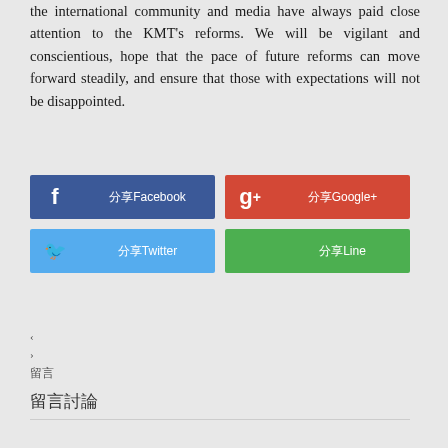the international community and media have always paid close attention to the KMT's reforms. We will be vigilant and conscientious, hope that the pace of future reforms can move forward steadily, and ensure that those with expectations will not be disappointed.
[Figure (infographic): Social sharing buttons: Facebook (blue), Google+ (red), Twitter (light blue), Line (green)]
‹
›
留言
留言討論